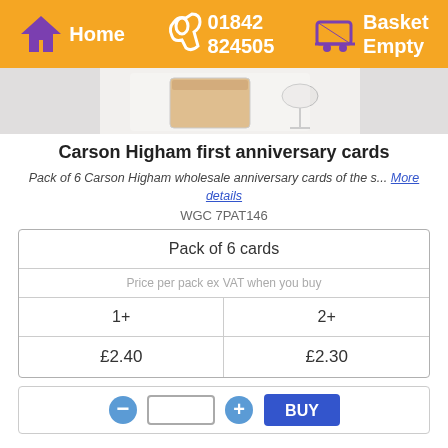Home | 01842 824505 | Basket Empty
[Figure (photo): Product image of Carson Higham anniversary cards, showing wrapped gift cards with ribbons on a white background]
Carson Higham first anniversary cards
Pack of 6 Carson Higham wholesale anniversary cards of the s... More details
WGC 7PAT146
| Pack of 6 cards |
| --- |
| Price per pack ex VAT when you buy |
| 1+ | 2+ |
| £2.40 | £2.30 |